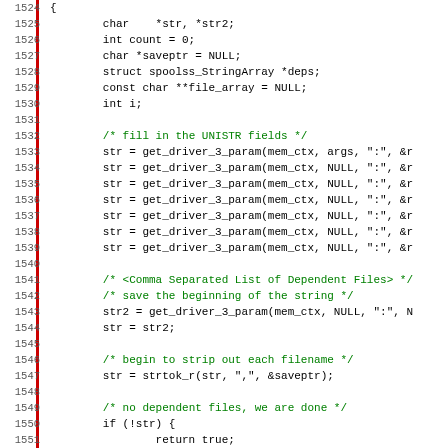[Figure (screenshot): Source code listing in C, lines 1524-1555, showing function body with variable declarations, UNISTR field assignments, comma-separated file list handling, strtok_r call, null check with return, and talloc_zero call.]